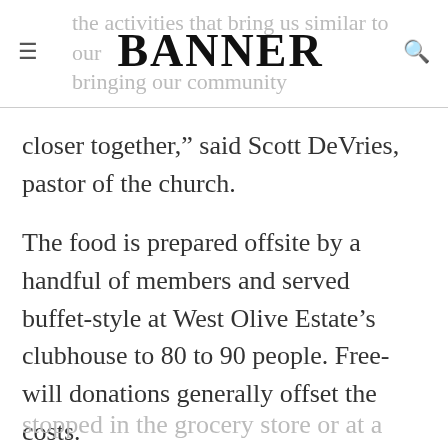BANNER
closer together,” said Scott DeVries, pastor of the church.
The food is prepared offsite by a handful of members and served buffet-style at West Olive Estate’s clubhouse to 80 to 90 people. Free-will donations generally offset the costs.
DeVries has enjoyed ministering to many people “going through hard times financially, physically, and emotionally,” he said. “A couple of times I’ve even been stopped in the grocery store or at a